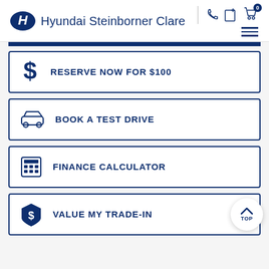[Figure (logo): Hyundai oval logo in blue]
Hyundai Steinborner Clare
[Figure (screenshot): Header icons: phone, add, cart with 0, hamburger menu]
[Figure (infographic): Dark navy blue horizontal bar separator]
RESERVE NOW FOR $100
BOOK A TEST DRIVE
FINANCE CALCULATOR
VALUE MY TRADE-IN